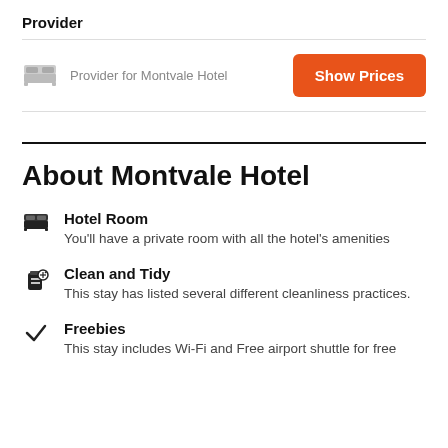Provider
Provider for Montvale Hotel
Show Prices
About Montvale Hotel
Hotel Room
You'll have a private room with all the hotel's amenities
Clean and Tidy
This stay has listed several different cleanliness practices.
Freebies
This stay includes Wi-Fi and Free airport shuttle for free